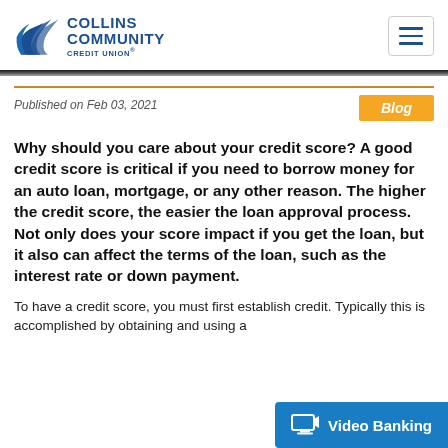[Figure (logo): Collins Community Credit Union logo with stylized bird/wing icon in blue]
Collins Community Credit Union — navigation header with hamburger menu
Published on Feb 03, 2021
Blog
Why should you care about your credit score? A good credit score is critical if you need to borrow money for an auto loan, mortgage, or any other reason. The higher the credit score, the easier the loan approval process. Not only does your score impact if you get the loan, but it also can affect the terms of the loan, such as the interest rate or down payment.
To have a credit score, you must first establish credit. Typically this is accomplished by obtaining and using a
[Figure (other): Video Banking button — blue rounded rectangle with monitor icon and text 'Video Banking']